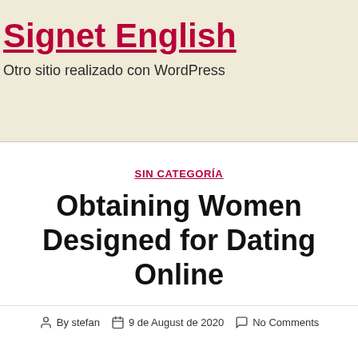Signet English
Otro sitio realizado con WordPress
SIN CATEGORÍA
Obtaining Women Designed for Dating Online
By stefan   9 de August de 2020   No Comments